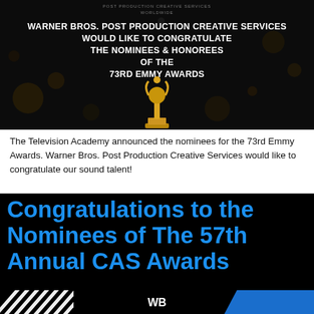[Figure (photo): Dark background banner with bokeh/bokeh light effects and an Emmy statuette silhouette. Text reads: POST PRODUCTION CREATIVE SERVICES WORLDWIDE. WARNER BROS. POST PRODUCTION CREATIVE SERVICES WOULD LIKE TO CONGRATULATE THE NOMINEES & HONOREES OF THE 73RD EMMY AWARDS.]
The Television Academy announced the nominees for the 73rd Emmy Awards. Warner Bros. Post Production Creative Services would like to congratulate our sound talent!
Congratulations to the Nominees of The 57th Annual CAS Awards
[Figure (logo): Footer bar with diagonal stripe pattern on left, WB (Warner Bros.) logo in center, and blue triangle on right.]